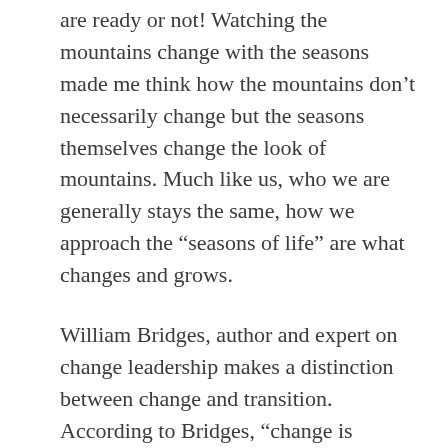are ready or not! Watching the mountains change with the seasons made me think how the mountains don’t necessarily change but the seasons themselves change the look of mountains. Much like us, who we are generally stays the same, how we approach the “seasons of life” are what changes and grows.
William Bridges, author and expert on change leadership makes a distinction between change and transition. According to Bridges, “change is external and tied to a certain situation, transition is the internal, emotional process of how